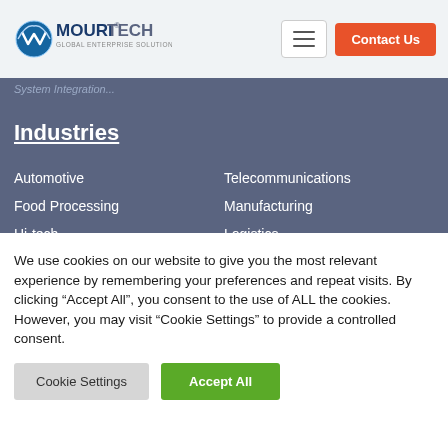Mouritech Global Enterprise Solutions — Contact Us
System Integration...
Industries
Automotive
Telecommunications
Food Processing
Manufacturing
Hi-tech
Logistics
Chemicals
Oil & Gas
Distribution
Retail
We use cookies on our website to give you the most relevant experience by remembering your preferences and repeat visits. By clicking “Accept All”, you consent to the use of ALL the cookies. However, you may visit "Cookie Settings" to provide a controlled consent.
Cookie Settings | Accept All